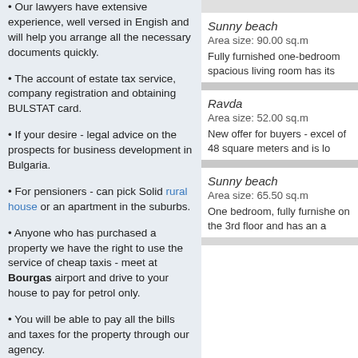Our lawyers have extensive experience, well versed in Engish and will help you arrange all the necessary documents quickly.
The account of estate tax service, company registration and obtaining BULSTAT card.
If your desire - legal advice on the prospects for business development in Bulgaria.
For pensioners - can pick Solid rural house or an apartment in the suburbs.
Anyone who has purchased a property we have the right to use the service of cheap taxis - meet at Bourgas airport and drive to your house to pay for petrol only.
You will be able to pay all the bills and taxes for the property through our agency.
We respect each client and its financial
Sunny beach
Area size: 90.00 sq.m
Fully furnished one-bedroom spacious living room has its
Ravda
Area size: 52.00 sq.m
New offer for buyers - excel of 48 square meters and is lo
Sunny beach
Area size: 65.50 sq.m
One bedroom, fully furnishe on the 3rd floor and has an a